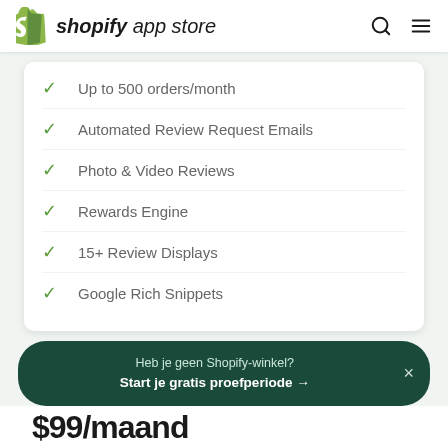shopify app store
Up to 500 orders/month
Automated Review Request Emails
Photo & Video Reviews
Rewards Engine
15+ Review Displays
Google Rich Snippets
Heb je geen Shopify-winkel? Start je gratis proefperiode →
$99/maand